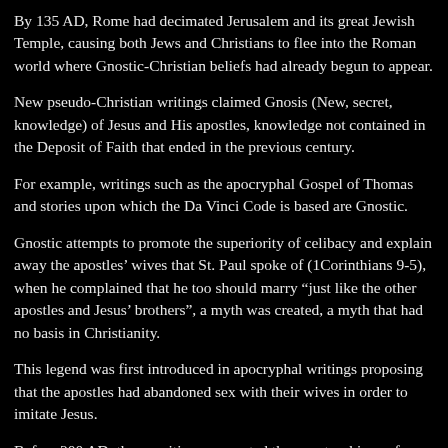By 135 AD, Rome had decimated Jerusalem and its great Jewish Temple, causing both Jews and Christians to flee into the Roman world where Gnostic-Christian beliefs had already begun to appear.
New pseudo-Christian writings claimed Gnosis (New, secret, knowledge) of Jesus and His apostles, knowledge not contained in the Deposit of Faith that ended in the previous century.
For example, writings such as the apocryphal Gospel of Thomas and stories upon which the Da Vinci Code is based are Gnostic.
Gnostic attempts to promote the superiority of celibacy and explain away the apostles’ wives that St. Paul spoke of (1Corinthians 9-5), when he complained that he too should marry “just like the other apostles and Jesus’ brothers”, a myth was created, a myth that had no basis in Christianity.
This legend was first introduced in apocryphal writings proposing that the apostles had abandoned sex with their wives in order to imitate Jesus.
Before 200 AD, these writings supported the new teachings of Patristic Fathers such as St. Justin, St. Clement of Alexandria…